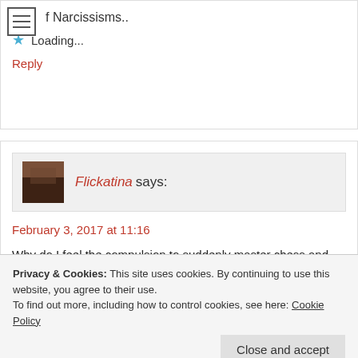f Narcissisms..
Loading...
Reply
Flickatina says:
February 3, 2017 at 11:16
Why do I feel the compulsion to suddenly master chess and then beat you.
Privacy & Cookies: This site uses cookies. By continuing to use this website, you agree to their use.
To find out more, including how to control cookies, see here: Cookie Policy
Close and accept